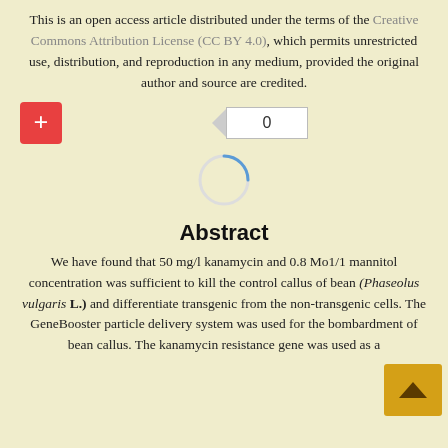This is an open access article distributed under the terms of the Creative Commons Attribution License (CC BY 4.0), which permits unrestricted use, distribution, and reproduction in any medium, provided the original author and source are credited.
[Figure (screenshot): UI elements: red plus button on left, counter widget showing '0' with left arrow, and a loading spinner circle below]
Abstract
We have found that 50 mg/l kanamycin and 0.8 Mo1/1 mannitol concentration was sufficient to kill the control callus of bean (Phaseolus vulgaris L.) and differentiate transgenic from the non-transgenic cells. The GeneBooster particle delivery system was used for the bombardment of bean callus. The kanamycin resistance gene was used as a